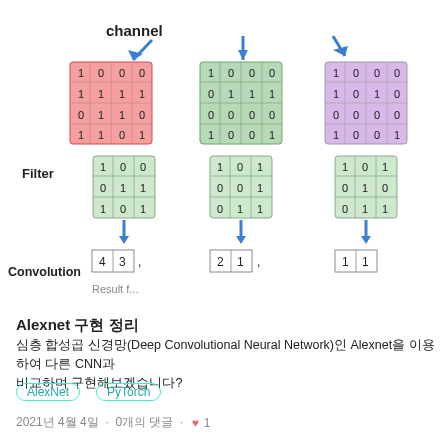[Figure (illustration): Diagram showing convolutional neural network operation: three channels (red, green, purple 4x4 input matrices) with corresponding filters (3x3 green matrices) and convolution results (2x2 output matrices). Blue arrows point from channels to filters. Labels: 'channel', 'Filter', 'Convolution'. Output values: [4,3], [2,1], [1,1].]
Alexnet 구현 정리
심층 합성곱 신경망(Deep Convolutional Neural Network)인 Alexnet을 이용하여 다른 CNN과 비교하며 구현해보겠습니다?
AlexNet
PyTorch
2021년 4월 4일 · 0개의 댓글 · ♥ 1